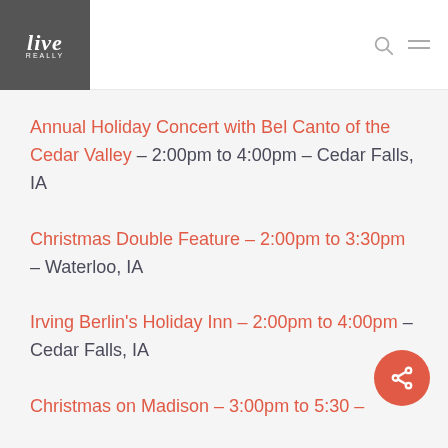live [logo]
Annual Holiday Concert with Bel Canto of the Cedar Valley – 2:00pm to 4:00pm – Cedar Falls, IA
Christmas Double Feature – 2:00pm to 3:30pm – Waterloo, IA
Irving Berlin's Holiday Inn – 2:00pm to 4:00pm – Cedar Falls, IA
Christmas on Madison – 3:00pm to 5:30 – Madison St., Winterset, IA